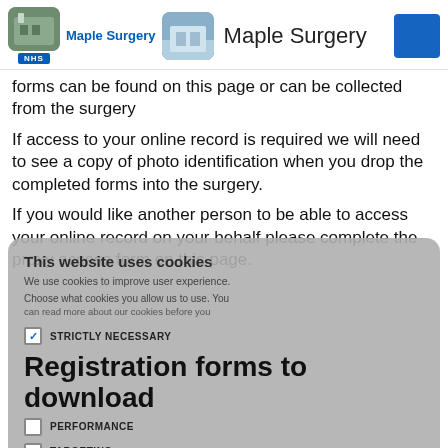[Figure (logo): Maple Surgery NHS logo with building photo and blue square icon]
forms can be found on this page or can be collected from the surgery
If access to your online record is required we will need to see a copy of photo identification when you drop the completed forms into the surgery.
If you would like another person to be able to access your online record on your behalf please complete the proxy access form on this page.
Registration forms to download
https://www.healthwatch.co.uk/advice-and-information/2019-01-23/registering-your-gp-understanding-your-rights